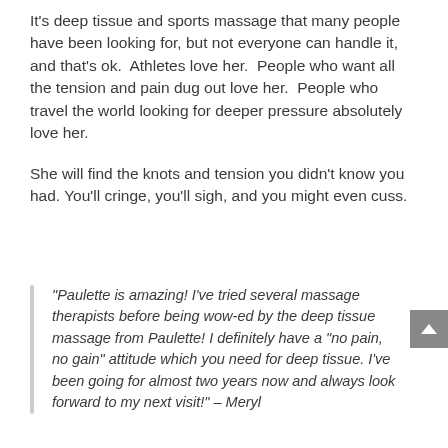It's deep tissue and sports massage that many people have been looking for, but not everyone can handle it, and that's ok.  Athletes love her.  People who want all the tension and pain dug out love her.  People who travel the world looking for deeper pressure absolutely love her.
She will find the knots and tension you didn't know you had. You'll cringe, you'll sigh, and you might even cuss.
“Paulette is amazing! I’ve tried several massage therapists before being wow-ed by the deep tissue massage from Paulette! I definitely have a “no pain, no gain” attitude which you need for deep tissue. I’ve been going for almost two years now and always look forward to my next visit!” – Meryl